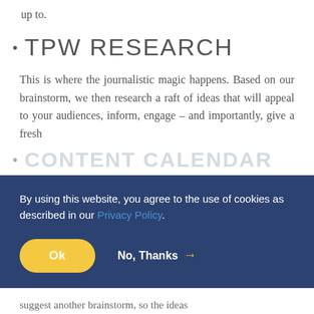up to.
TPW RESEARCH
This is where the journalistic magic happens. Based on our brainstorm, we then research a raft of ideas that will appeal to your audiences, inform, engage – and importantly, give a fresh
CONTENT CALENDAR
By using this website, you agree to the use of cookies as described in our Privacy Policy.
No, Thanks →
suggest another brainstorm, so the ideas